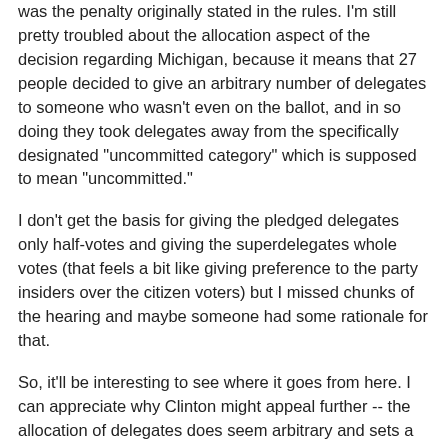was the penalty originally stated in the rules. I'm still pretty troubled about the allocation aspect of the decision regarding Michigan, because it means that 27 people decided to give an arbitrary number of delegates to someone who wasn't even on the ballot, and in so doing they took delegates away from the specifically designated "uncommitted category" which is supposed to mean "uncommitted."
I don't get the basis for giving the pledged delegates only half-votes and giving the superdelegates whole votes (that feels a bit like giving preference to the party insiders over the citizen voters) but I missed chunks of the hearing and maybe someone had some rationale for that.
So, it'll be interesting to see where it goes from here. I can appreciate why Clinton might appeal further -- the allocation of delegates does seem arbitrary and sets a very troubling precedent of ignoring actual votes to pick some number to benefit one candidate over the other. So aside from the political ramifications in this race, I can see how it could be important to address the principle that was derailed in that aspect of the vote.